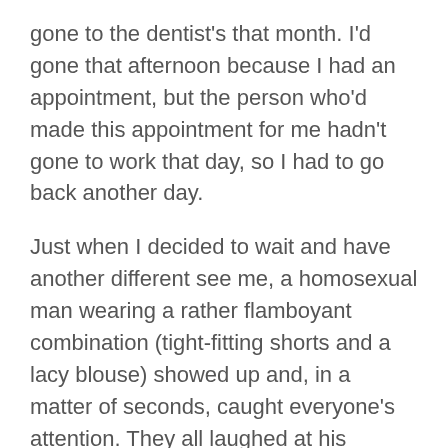gone to the dentist's that month. I'd gone that afternoon because I had an appointment, but the person who'd made this appointment for me hadn't gone to work that day, so I had to go back another day.
Just when I decided to wait and have another different see me, a homosexual man wearing a rather flamboyant combination (tight-fitting shorts and a lacy blouse) showed up and, in a matter of seconds, caught everyone's attention. They all laughed at his appearance.